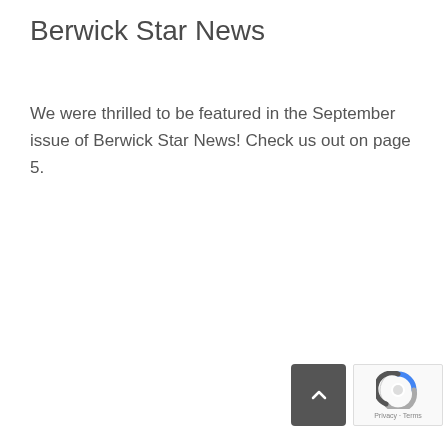Berwick Star News
We were thrilled to be featured in the September issue of Berwick Star News! Check us out on page 5.
[Figure (other): Scroll-to-top button (dark grey square with upward chevron arrow)]
[Figure (other): Google reCAPTCHA badge with Privacy and Terms links]